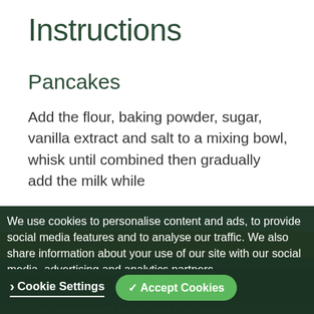Instructions
Pancakes
Add the flour, baking powder, sugar, vanilla extract and salt to a mixing bowl, whisk until combined then gradually add the milk while whisking until smooth.
We use cookies to personalise content and ads, to provide social media features and to analyse our traffic. We also share information about your use of our site with our social media, advertising and analytics partners. Cookie Policy
Cookie Settings   ✓ Accept Cookies
Salted Caramel Sauce